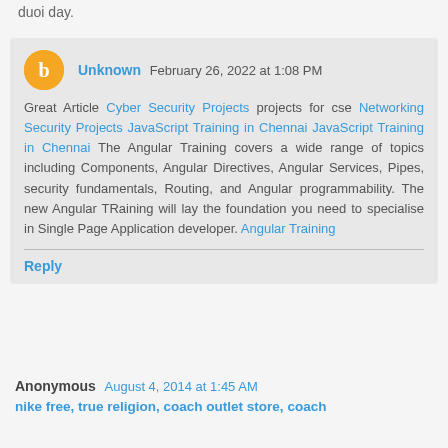duoi day.
Unknown February 26, 2022 at 1:08 PM
Great Article Cyber Security Projects projects for cse Networking Security Projects JavaScript Training in Chennai JavaScript Training in Chennai The Angular Training covers a wide range of topics including Components, Angular Directives, Angular Services, Pipes, security fundamentals, Routing, and Angular programmability. The new Angular TRaining will lay the foundation you need to specialise in Single Page Application developer. Angular Training
Reply
Anonymous August 4, 2014 at 1:45 AM
nike free, true religion, coach outlet store, coach